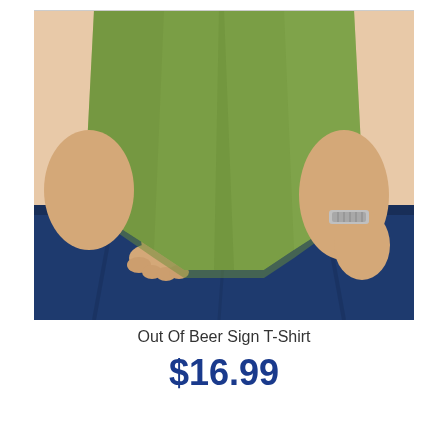[Figure (photo): Close-up photo of a person wearing a green (olive/sage colored) t-shirt tucked into dark blue jeans. The person is pulling/lifting the hem of the t-shirt. A silver bracelet or watch is visible on the right wrist.]
Out Of Beer Sign T-Shirt
$16.99